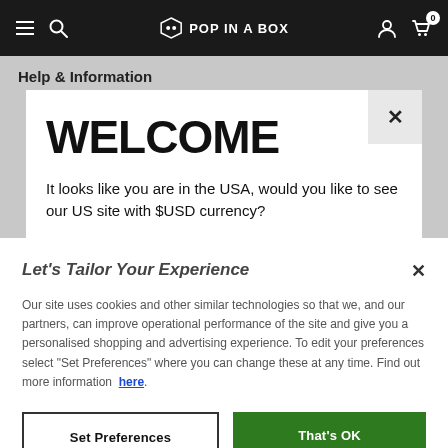Pop In A Box navigation bar
Help & Information
WELCOME
It looks like you are in the USA, would you like to see our US site with $USD currency?
Let's Tailor Your Experience
Our site uses cookies and other similar technologies so that we, and our partners, can improve operational performance of the site and give you a personalised shopping and advertising experience. To edit your preferences select "Set Preferences" where you can change these at any time. Find out more information here.